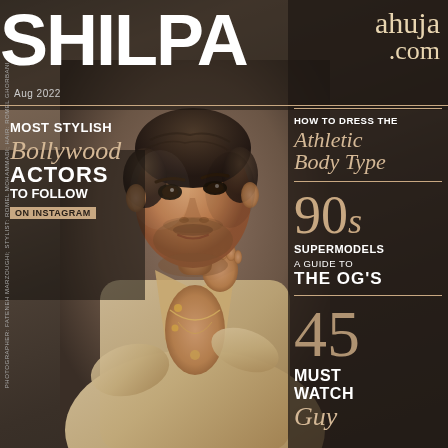SHILPA ahuja.com
Aug 2022
MOST STYLISH Bollywood ACTORS TO FOLLOW ON INSTAGRAM
HOW TO DRESS THE Athletic Body Type
90s SUPERMODELS A GUIDE TO THE OG'S
45 MUST WATCH Guy
[Figure (photo): Magazine cover photo of a dark-haired male model in an open beige/cream shirt with gold necklaces, hand raised to chin, against a dark brown background]
PHOTOGRAPHER: FATENEH MARZOUGHI; STYLIST: ROMEL MOHAMMADI; HAIR: ROMEL GHORBANI